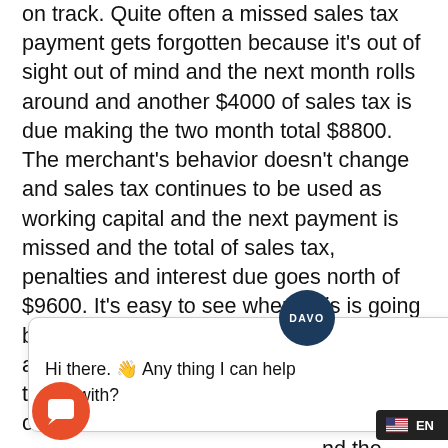on track. Quite often a missed sales tax payment gets forgotten because it's out of sight out of mind and the next month rolls around and another $4000 of sales tax is due making the two month total $8800. The merchant's behavior doesn't change and sales tax continues to be used as working capital and the next payment is missed and the total of sales tax, penalties and interest due goes north of $9600. It's easy to see where this is going because the business is only grossing about $50,000/month and now 20% of their sales will go to paying back sales tax owed.
[Figure (screenshot): Chat popup overlay showing DAVO logo (dark navy circle with DAVO text), a close X button, and chat message: 'Hi there. 👋 Any thing I can help you with?']
Missing a sales tax payment deadline or making a payment results in excessive fines and penalties that can easily devastate a business and leave a lender with a bad debt.